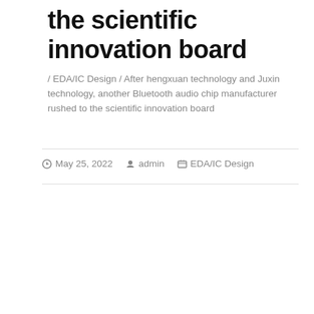the scientific innovation board
/ EDA/IC Design / After hengxuan technology and Juxin technology, another Bluetooth audio chip manufacturer rushed to the scientific innovation board
May 25, 2022   admin   EDA/IC Design